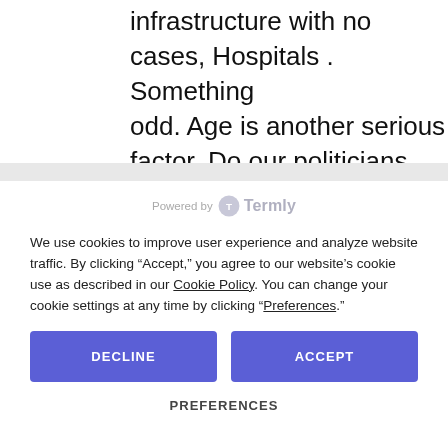infrastructure with no cases, Hospitals . Something odd. Age is another serious factor. Do our politicians already know ?
[Figure (logo): Powered by Termly logo with circular icon and brand name]
We use cookies to improve user experience and analyze website traffic. By clicking “Accept,” you agree to our website’s cookie use as described in our Cookie Policy. You can change your cookie settings at any time by clicking “Preferences.”
DECLINE
ACCEPT
PREFERENCES